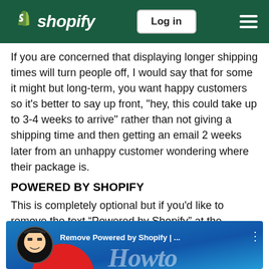shopify | Log in
If you are concerned that displaying longer shipping times will turn people off, I would say that for some it might but long-term, you want happy customers so it's better to say up front, "hey, this could take up to 3-4 weeks to arrive" rather than not giving a shipping time and then getting an email 2 weeks later from an unhappy customer wondering where their package is.
POWERED BY SHOPIFY
This is completely optional but if you'd like to remove the text “Powered by Shopify” at the bottom, here is how to do it:
[Figure (screenshot): YouTube video thumbnail showing 'Remove Powered by Shopify | ...' with a tech geek avatar icon and decorative script text in background]